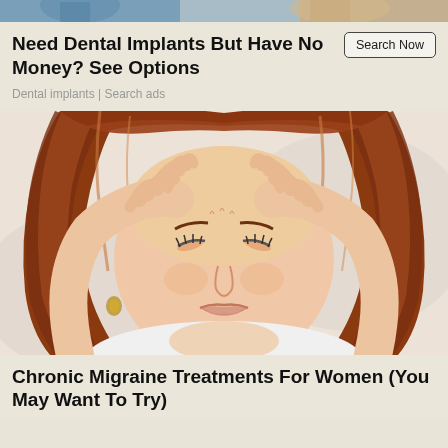[Figure (photo): Partial top image showing people, cropped at top of page]
Need Dental Implants But Have No Money? See Options
Dental implants | Search ads
[Figure (photo): Woman with red/auburn hair pressing both hands to her temples with eyes closed, appearing to be in pain from a headache or migraine, wearing a white top, light background]
Chronic Migraine Treatments For Women (You May Want To Try)